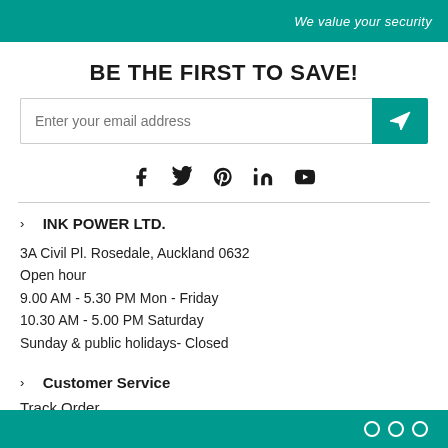We value your security
BE THE FIRST TO SAVE!
Enter your email address
[Figure (infographic): Social media icons: Facebook, Twitter, Pinterest, LinkedIn, YouTube]
INK POWER LTD.
3A Civil Pl. Rosedale, Auckland 0632
Open hour
9.00 AM - 5.30 PM Mon - Friday
10.30 AM - 5.00 PM Saturday
Sunday & public holidays- Closed
Customer Service
Track Order
Store Pickup